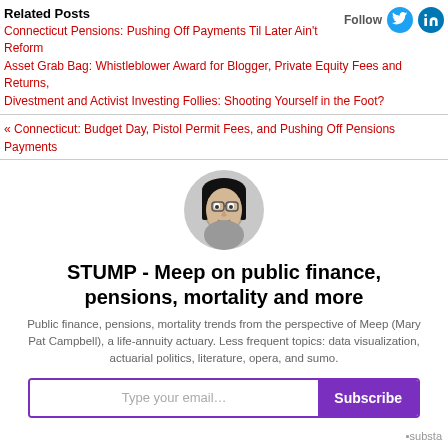Related Posts
Connecticut Pensions: Pushing Off Payments Til Later Ain't Reform
Asset Grab Bag: Whistleblower Award for Blogger, Private Equity Fees and Returns,
Divestment and Activist Investing Follies: Shooting Yourself in the Foot?
« Connecticut: Budget Day, Pistol Permit Fees, and Pushing Off Pensions Payments
[Figure (photo): Circular avatar/portrait photo of a person]
STUMP - Meep on public finance, pensions, mortality and more
Public finance, pensions, mortality trends from the perspective of Meep (Mary Pat Campbell), a life-annuity actuary. Less frequent topics: data visualization, actuarial politics, literature, opera, and sumo.
Type your email… Subscribe
substa